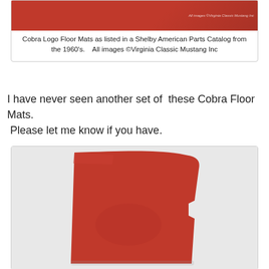[Figure (photo): Red Cobra Logo Floor Mat shown against a red background, catalog image from Shelby American Parts Catalog, watermark reads All images Virginia Classic Mustang Inc]
Cobra Logo Floor Mats as listed in a Shelby American Parts Catalog from the 1960's.    All images ©Virginia Classic Mustang Inc
I have never seen another set of  these Cobra Floor Mats.  Please let me know if you have.
[Figure (photo): Red rubber Cobra floor mat, folded/curled, showing the mat shape with a notch cut on the right side, on a light grey background]